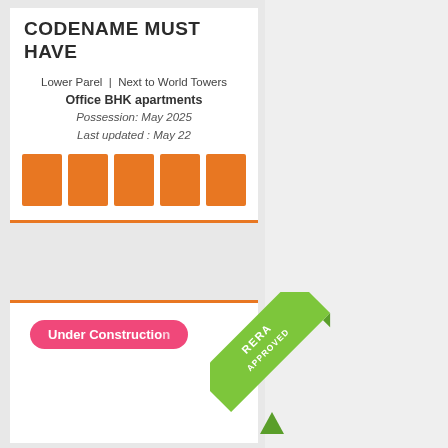CODENAME MUST HAVE
Lower Parel | Next to World Towers
Office BHK apartments
Possession: May 2025
Last updated : May 22
[Figure (other): Five orange square boxes in a row representing photo thumbnails]
Under Construction
[Figure (illustration): Green diagonal ribbon banner with text RERA APPROVED]